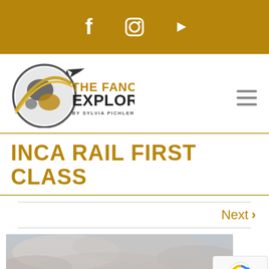Social media icons: Facebook, Instagram, YouTube
[Figure (logo): The Fancy Explorer by Sylvia Pichler logo — globe with airplane and gold/dark text]
INCA RAIL FIRST CLASS
Next >
[Figure (photo): Cloudy sky landscape photograph, partial view]